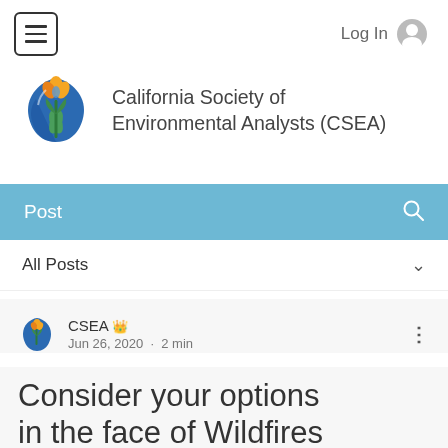[Figure (screenshot): Website navigation bar with hamburger menu button on left and Log In with user icon on right]
[Figure (logo): California Society of Environmental Analysts (CSEA) logo: blue water drop with green plant and orange flower]
California Society of Environmental Analysts (CSEA)
Post
All Posts
CSEA 👑
Jun 26, 2020 · 2 min
Consider your options in the face of Wildfires